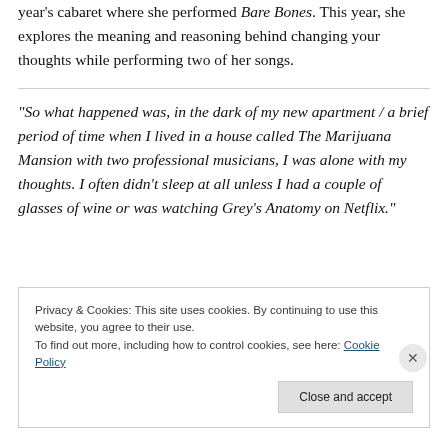year's cabaret where she performed Bare Bones. This year, she explores the meaning and reasoning behind changing your thoughts while performing two of her songs.
“So what happened was, in the dark of my new apartment / a brief period of time when I lived in a house called The Marijuana Mansion with two professional musicians, I was alone with my thoughts. I often didn’t sleep at all unless I had a couple of glasses of wine or was watching Grey’s Anatomy on Netflix.”
Privacy & Cookies: This site uses cookies. By continuing to use this website, you agree to their use.
To find out more, including how to control cookies, see here: Cookie Policy